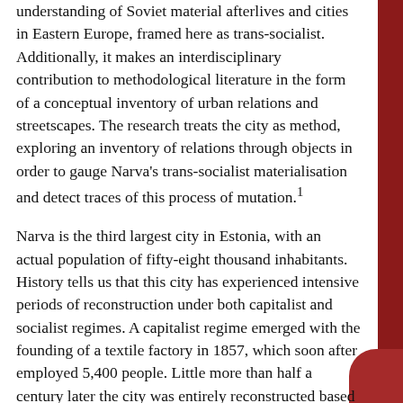understanding of Soviet material afterlives and cities in Eastern Europe, framed here as trans-socialist. Additionally, it makes an interdisciplinary contribution to methodological literature in the form of a conceptual inventory of urban relations and streetscapes. The research treats the city as method, exploring an inventory of relations through objects in order to gauge Narva's trans-socialist materialisation and detect traces of this process of mutation.1
Narva is the third largest city in Estonia, with an actual population of fifty-eight thousand inhabitants. History tells us that this city has experienced intensive periods of reconstruction under both capitalist and socialist regimes. A capitalist regime emerged with the founding of a textile factory in 1857, which soon after employed 5,400 people. Little more than half a century later the city was entirely reconstructed based on Soviet, modernist principles and repopulated with workers from all the corners of the USSR. Narva then became a socialist prototype, with central control over the form and meaning of the built environment and with development based on the expansion of infrastructures